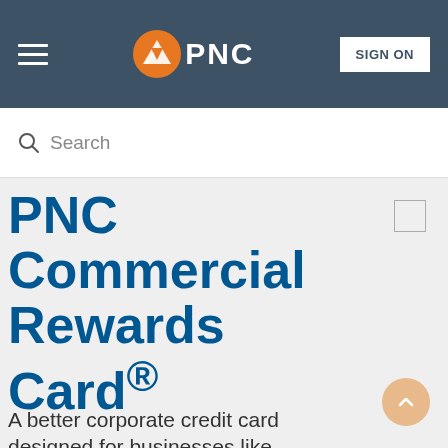[Figure (logo): PNC Bank navigation header with hamburger menu, PNC logo (orange circle with white arrow), and SIGN ON button]
Search
PNC Commercial Rewards Card®
A better corporate credit card designed for businesses like